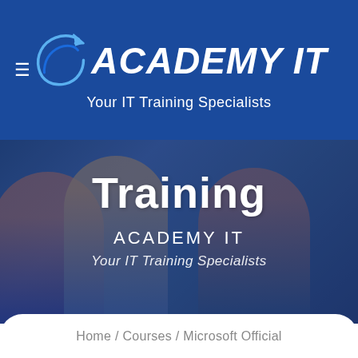[Figure (logo): Academy IT logo with circular arrow icon and stylized text on blue header band]
Your IT Training Specialists
[Figure (photo): Three students (two women, one man) studying together at a table with laptops and tablets, overlaid with a blue tint]
Training
ACADEMY IT
Your IT Training Specialists
Home / Courses / Microsoft Official